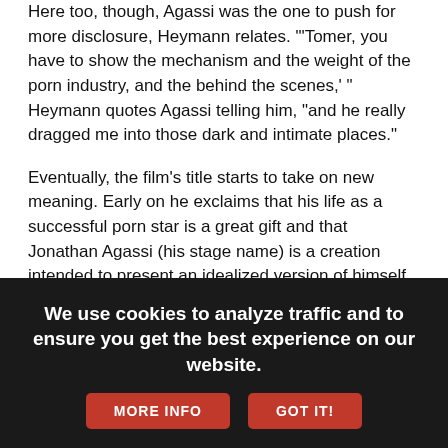Here too, though, Agassi was the one to push for more disclosure, Heymann relates. "'Tomer, you have to show the mechanism and the weight of the porn industry, and the behind the scenes,' " Heymann quotes Agassi telling him, "and he really dragged me into those dark and intimate places."
Eventually, the film's title starts to take on new meaning. Early on he exclaims that his life as a successful porn star is a great gift and that Jonathan Agassi (his stage name) is a creation intended to present an idealized version of himself, not the bullied, young man trying to escape his traumatic origins. But as the film peels away the layers of illusion, it reveals Agassi succumbing to his demons and becoming a shadow of the confident man at the film's start.
"That's definitely true," Heymann affirms. "There was a screening a few days ago, and these are exactly the issues Jonathan was talking about at the Q and A: How once he saw himself in the film, Jonathan deeply understood the changes that he had to make if he wanted to stay alive. That was a very, very difficult process for him. But in a
We use cookies to analyze traffic and to ensure you get the best experience on our website.